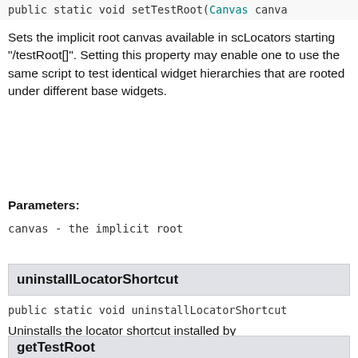public static void setTestRoot(Canvas canva
Sets the implicit root canvas available in scLocators starting "/testRoot[]". Setting this property may enable one to use the same script to test identical widget hierarchies that are rooted under different base widgets.
Parameters:
canvas - the implicit root
uninstallLocatorShortcut
public static void uninstallLocatorShortcut
Uninstalls the locator shortcut installed by installLocatorShortcut()
getTestRoot